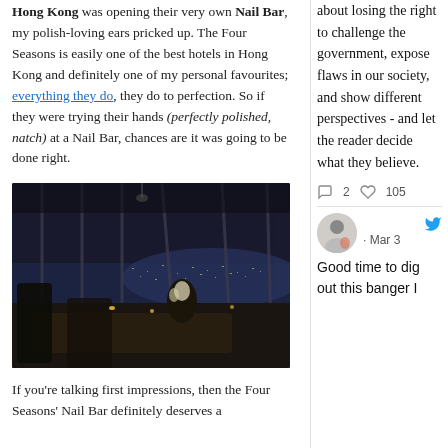Hong Kong was opening their very own Nail Bar, my polish-loving ears pricked up. The Four Seasons is easily one of the best hotels in Hong Kong and definitely one of my personal favourites; everything they do, they do to perfection. So if they were trying their hands (perfectly polished, natch) at a Nail Bar, chances are it was going to be done right.
[Figure (photo): Interior photo of the Four Seasons Nail Bar at night, showing elegant furniture and floor-to-ceiling windows overlooking the Hong Kong city skyline at night]
If you're talking first impressions, then the Four Seasons' Nail Bar definitely deserves a
about losing the right to challenge the government, expose flaws in our society, and show different perspectives - and let the reader decide what they believe.
2  105
· Mar 3
Good time to dig out this banger I